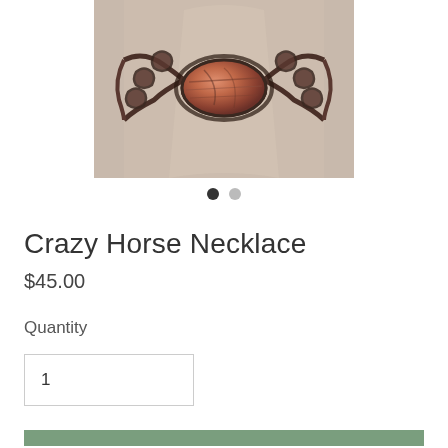[Figure (photo): A necklace with a large oval reddish-brown stone centerpiece and dark metallic chain links displayed on a light linen/burlap jewelry stand]
● ○
Crazy Horse Necklace
$45.00
Quantity
1